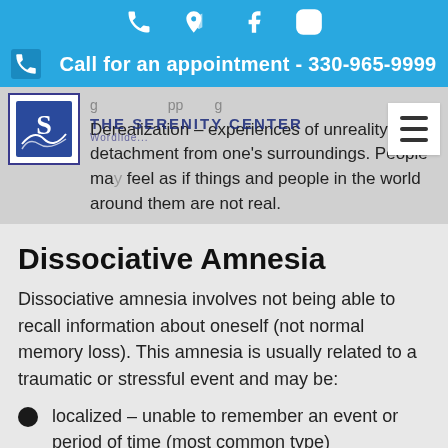Call for an appointment - 330-965-9999
Derealization – experiences of unreality or detachment from one's surroundings. People may feel as if things and people in the world around them are not real.
Dissociative Amnesia
Dissociative amnesia involves not being able to recall information about oneself (not normal memory loss). This amnesia is usually related to a traumatic or stressful event and may be:
localized – unable to remember an event or period of time (most common type)
selective – unable to remember a specific aspect